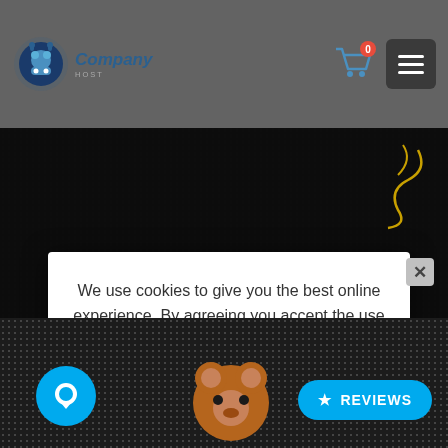[Figure (screenshot): Website header with company logo, shopping cart with badge showing 0, and hamburger menu button]
We use cookies to give you the best online experience. By agreeing you accept the use of cookies in accordance with our cookie policy.
I ACCEPT
I DECLINE
Privacy Center  Privacy Settings  Cookie Policy
[Figure (screenshot): Bottom of website with chat bubble icon and Reviews button, partial bear character illustration visible]